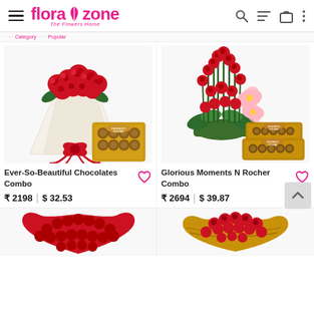florazone - The Flowers Home
[Figure (photo): Flower bouquet with red roses wrapped in white paper with red ribbon, alongside a box of Ferrero Rocher chocolates — Ever-So-Beautiful Chocolates Combo product image]
Ever-So-Beautiful Chocolates Combo
₹ 2198 | $ 32.53
[Figure (photo): Tall arrangement of red roses with pink lilies in a basket, alongside two stacked boxes of Ferrero Rocher chocolates — Glorious Moments N Rocher Combo product image]
Glorious Moments N Rocher Combo
₹ 2694 | $ 39.87
[Figure (photo): Heart-shaped arrangement of red roses — bottom-left product image (partially visible)]
[Figure (photo): Heart-shaped arrangement of red roses in a golden/wicker basket — bottom-right product image (partially visible)]